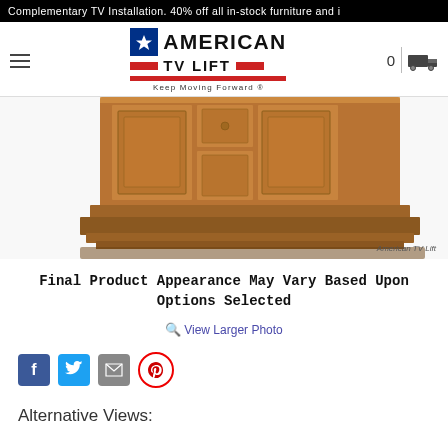Complementary TV Installation. 40% off all in-stock furniture and i
[Figure (logo): American TV Lift logo with star, red bars, and tagline Keep Moving Forward]
[Figure (photo): Bottom portion of a wooden TV lift cabinet in warm brown/honey finish, showing decorative panel doors and base molding. Watermark: American TV Lift]
Final Product Appearance May Vary Based Upon Options Selected
View Larger Photo
[Figure (infographic): Social sharing icons: Facebook, Twitter, Email, Pinterest]
Alternative Views: